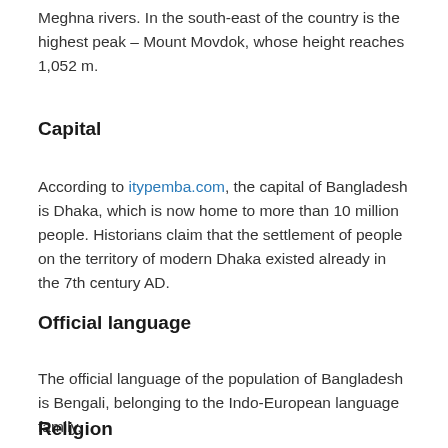Meghna rivers. In the south-east of the country is the highest peak – Mount Movdok, whose height reaches 1,052 m.
Capital
According to itypemba.com, the capital of Bangladesh is Dhaka, which is now home to more than 10 million people. Historians claim that the settlement of people on the territory of modern Dhaka existed already in the 7th century AD.
Official language
The official language of the population of Bangladesh is Bengali, belonging to the Indo-European language family.
Religion